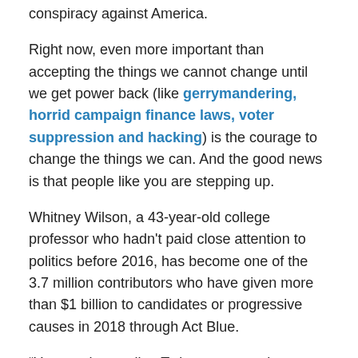conspiracy against America.
Right now, even more important than accepting the things we cannot change until we get power back (like gerrymandering, horrid campaign finance laws, voter suppression and hacking) is the courage to change the things we can. And the good news is that people like you are stepping up.
Whitney Wilson, a 43-year-old college professor who hadn't paid close attention to politics before 2016, has become one of the 3.7 million contributors who have given more than $1 billion to candidates or progressive causes in 2018 through Act Blue.
“You can be reading Twitter on your phone, get mad, click on a link and you’ve donated again,” she told USA TODAY. “It’s very easy anger management.”